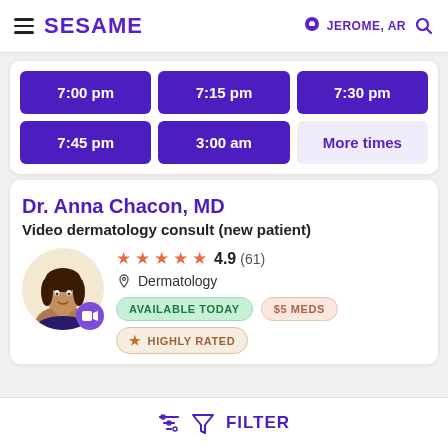SESAME — JEROME, AR
| 7:00 pm | 7:15 pm | 7:30 pm |
| 7:45 pm | 3:00 am | More times |
Dr. Anna Chacon, MD
Video dermatology consult (new patient)
★★★★★ 4.9 (61) — Dermatology — AVAILABLE TODAY — $5 MEDS — HIGHLY RATED
FILTER